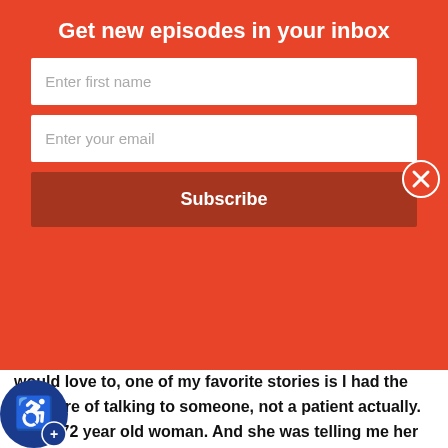Get new episodes in your inbox
Enter first name
Enter your email
Subscribe
would love to, one of my favorite stories is I had the pleasure of talking to someone, not a patient actually. She's 72 year old woman. And she was telling me her story, which is she went golfing and she hurt her shoulder, playing golf for club into the ground, hurt her shoulder. And she was fine doing everything she does except for pole dancing because she was also a recreational pole dancer. And so she went to go see her doctor. And she said, doctor, my shoulder hurts my pole dance, but I'm fine. Otherwise I heard it playing golf. And said, well, you shouldn't pull down. That's dangerous ick to golf. And it's like, it's just so interesting. Our
[Figure (illustration): Accessibility icon - blue circle with wheelchair user symbol and plus sign]
[Figure (illustration): Gray scroll-up button with upward chevron arrow]
[Figure (illustration): Orange circle close (X) button on the right side of the overlay]